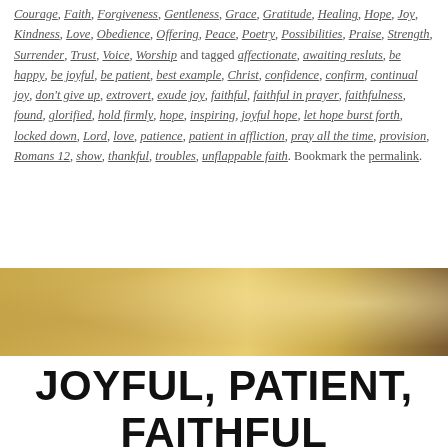Courage, Faith, Forgiveness, Gentleness, Grace, Gratitude, Healing, Hope, Joy, Kindness, Love, Obedience, Offering, Peace, Poetry, Possibilities, Praise, Strength, Surrender, Trust, Voice, Worship and tagged affectionate, awaiting resluts, be happy, be joyful, be patient, best example, Christ, confidence, confirm, continual joy, don't give up, extrovert, exude joy, faithful, faithful in prayer, faithfulness, found, glorified, hold firmly, hope, inspiring, joyful hope, let hope burst forth, locked down, Lord, love, patience, patient in affliction, pray all the time, provision, Romans 12, show, thankful, troubles, unflappable faith. Bookmark the permalink.
[Figure (photo): A golden-toned banner photo showing sunlit grasses or plants with a bokeh warm golden background, spanning the full width.]
JOYFUL, PATIENT, FAITHFUL